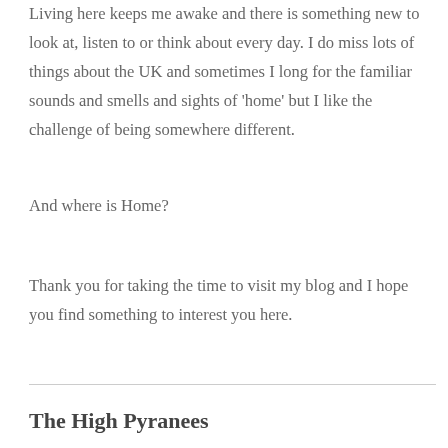Living here keeps me awake and there is something new to look at, listen to or think about every day. I do miss lots of things about the UK and sometimes I long for the familiar sounds and smells and sights of 'home' but I like the challenge of being somewhere different.
And where is Home?
Thank you for taking the time to visit my blog and I hope you find something to interest you here.
The High Pyranees